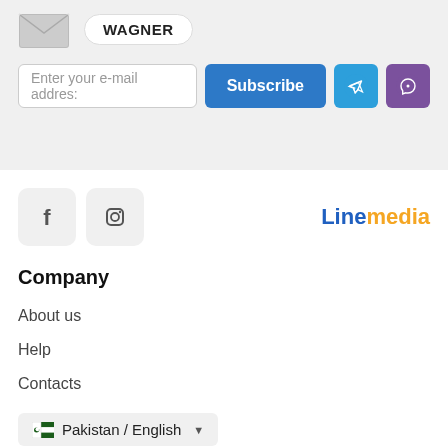[Figure (logo): Envelope icon with WAGNER badge label]
Enter your e-mail address
Subscribe
[Figure (logo): Telegram icon button]
[Figure (logo): Viber icon button]
[Figure (logo): Facebook icon]
[Figure (logo): Instagram icon]
[Figure (logo): Linemedia logo]
Company
About us
Help
Contacts
Pakistan / English